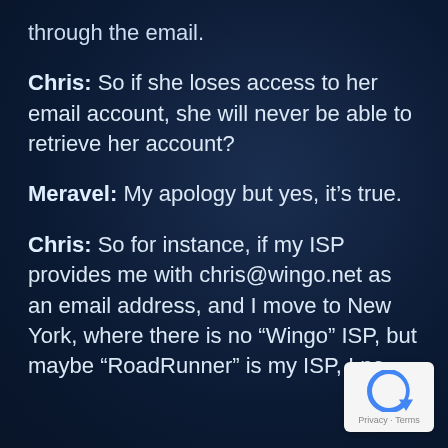through the email.
Chris: So if she loses access to her email account, she will never be able to retrieve her account?
Meravel: My apology but yes, it's true.
Chris: So for instance, if my ISP provides me with chris@wingo.net as an email address, and I move to New York, where there is no “Wingo” ISP, but maybe “RoadRunner” is my ISP, I no
[Figure (logo): Google reCAPTCHA badge with Privacy and Terms text]